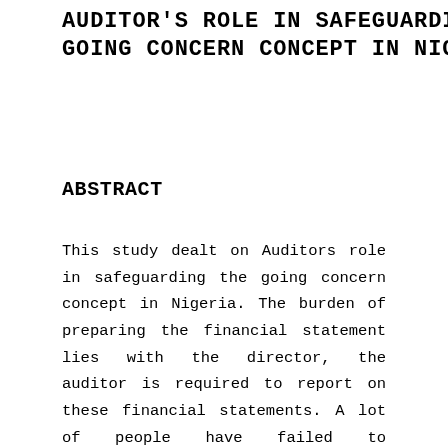AUDITOR'S ROLE IN SAFEGUARDING THE GOING CONCERN CONCEPT IN NIGERIA
ABSTRACT
This study dealt on Auditors role in safeguarding the going concern concept in Nigeria. The burden of preparing the financial statement lies with the director, the auditor is required to report on these financial statements. A lot of people have failed to understand that the role of an auditor is more than for the numbers to t